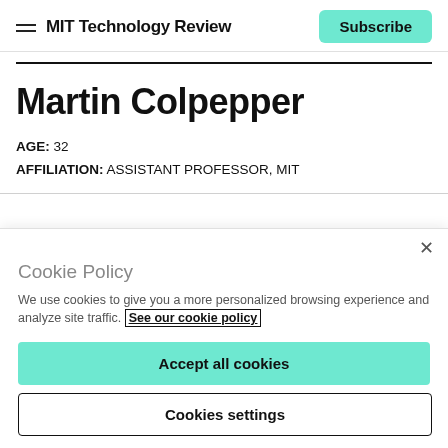MIT Technology Review
Martin Colpepper
AGE: 32
AFFILIATION: ASSISTANT PROFESSOR, MIT
Cookie Policy
We use cookies to give you a more personalized browsing experience and analyze site traffic. See our cookie policy
Accept all cookies
Cookies settings